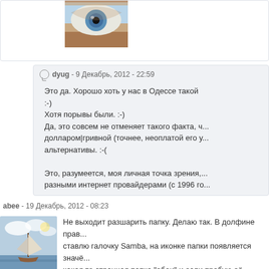[Figure (photo): Close-up photo of a human eye cropped at top of page]
dyug - 9 Декабрь, 2012 - 22:59
Это да. Хорошо хоть у нас в Одессе такой :-)
Хотя порывы были. :-)
Да, это совсем не отменяет такого факта, ч... долларом|гривной (точнее, неоплатой его у... альтернативы. :-(
Это, разумеется, моя личная точка зрения, ... разными интернет провайдерами (с 1996 го...
abee - 19 Декабрь, 2012 - 08:23
[Figure (photo): Sailboat on water with sky background - user avatar]
Не выходит разшарить папку. Делаю так. В долфине прав... ставлю галочку Samba, на иконке папки появляется значё... какая то странная папка "обои" и если пробую её открыть... принимает.
Делал всё как раньше